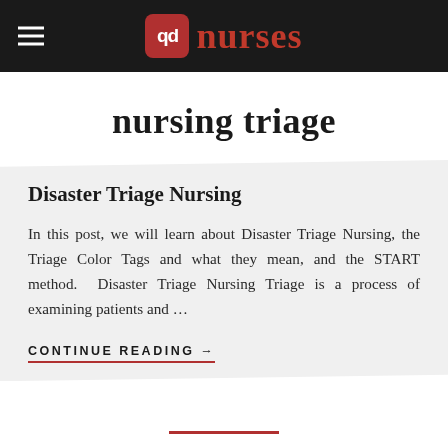qd nurses
nursing triage
Disaster Triage Nursing
In this post, we will learn about Disaster Triage Nursing, the Triage Color Tags and what they mean, and the START method.  Disaster Triage Nursing Triage is a process of examining patients and …
CONTINUE READING →